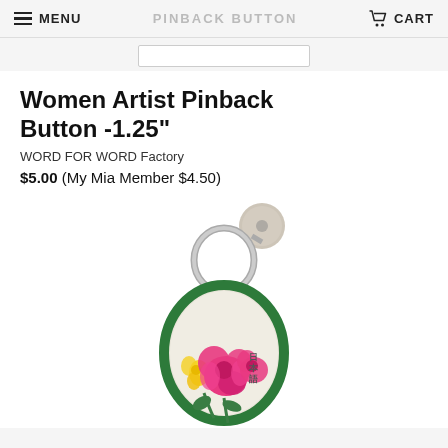MENU   PINBACK BUTTON   CART
Women Artist Pinback Button -1.25"
WORD FOR WORD Factory
$5.00 (My Mia Member $4.50)
[Figure (photo): A pinback button keychain with an embroidered floral design featuring pink and yellow flowers with green leaves and Asian text, attached to a metal ring with a round grey back button.]